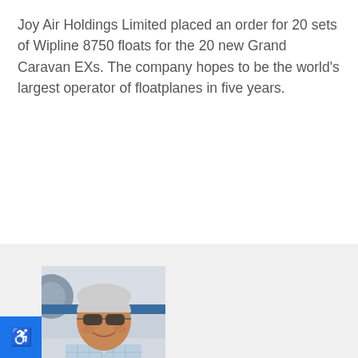Joy Air Holdings Limited placed an order for 20 sets of Wipline 8750 floats for the 20 new Grand Caravan EXs. The company hopes to be the world's largest operator of floatplanes in five years.
[Figure (photo): Headshot photo of Alton K. Marsh, an older man with gray hair and sunglasses, smiling, wearing a light blue checkered shirt, with aircraft equipment visible in the background.]
Alton K. Marsh
Freelance journalist
Alton K. Marsh is a former senior editor of AOPA Pilot and is now a freelance journalist specializing in aviation topics.